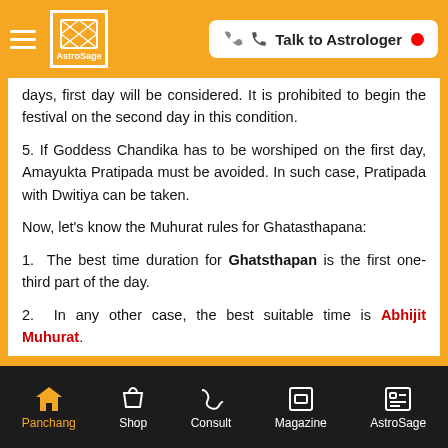AstroSage — Talk to Astrologer
days, first day will be considered. It is prohibited to begin the festival on the second day in this condition.
5. If Goddess Chandika has to be worshiped on the first day, Amayukta Pratipada must be avoided. In such case, Pratipada with Dwitiya can be taken.
Now, let's know the Muhurat rules for Ghatasthapana:
1. The best time duration for Ghatsthapan is the first one-third part of the day.
2. In any other case, the best suitable time is Abhijit Muhurat.
Panchang | Shop | Consult | Magazine | AstroSage